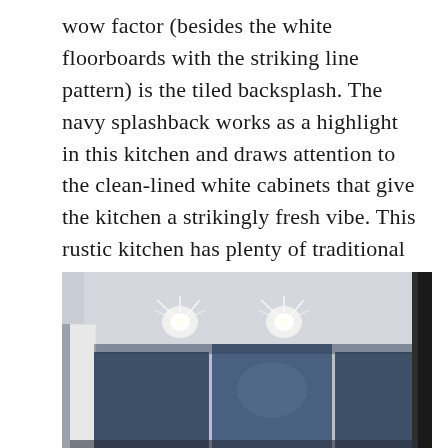wow factor (besides the white floorboards with the striking line pattern) is the tiled backsplash. The navy splashback works as a highlight in this kitchen and draws attention to the clean-lined white cabinets that give the kitchen a strikingly fresh vibe. This rustic kitchen has plenty of traditional touches as well as lots of bright and colorful accents.
[Figure (photo): Interior photo of a modern kitchen/room with navy blue cabinet panels and a light gray ceiling with two recessed spotlights. A window with a white roller blind is visible on the left, and a dark vertical structural element is visible on the right edge.]